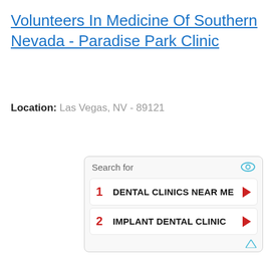Volunteers In Medicine Of Southern Nevada - Paradise Park Clinic
Location: Las Vegas, NV - 89121
Search for
1  DENTAL CLINICS NEAR ME
2  IMPLANT DENTAL CLINIC